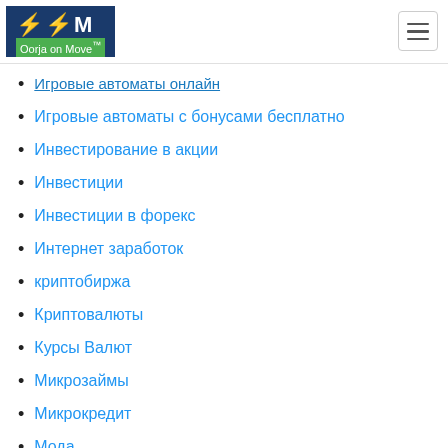Oorja on Move
Игровые автоматы онлайн
Игровые автоматы с бонусами бесплатно
Инвестирование в акции
Инвестиции
Инвестиции в форекс
Интернет заработок
криптобиржа
Криптовалюты
Курсы Валют
Микрозаймы
Микрокредит
Мода
Новости Форекс
Обзор азартные игры
Обзор Джойказино
Обзор зеркало казино